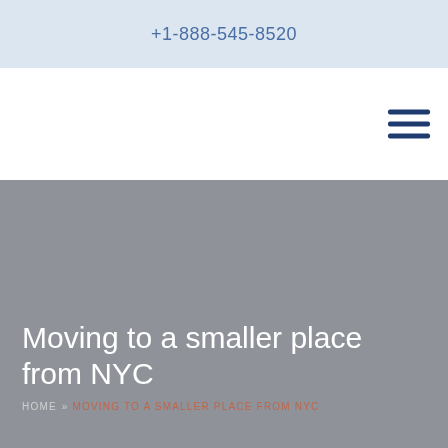+1-888-545-8520
[Figure (other): Navigation bar with hamburger menu icon (three horizontal dark blue lines) on the right side]
Moving to a smaller place from NYC
HOME » MOVING TO A SMALLER PLACE FROM NYC